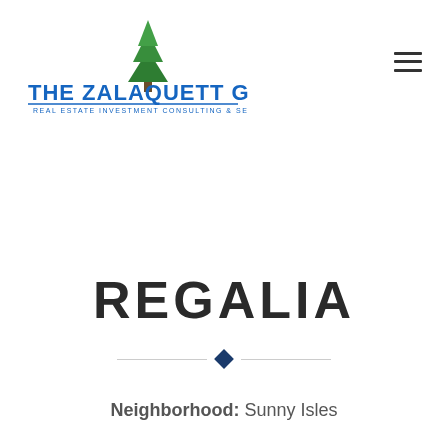[Figure (logo): The Zalaquett Group logo — green cedar tree above blue text 'The Zalaquett Group' with subtitle 'Real Estate Investment Consulting & Services']
REGALIA
Neighborhood: Sunny Isles